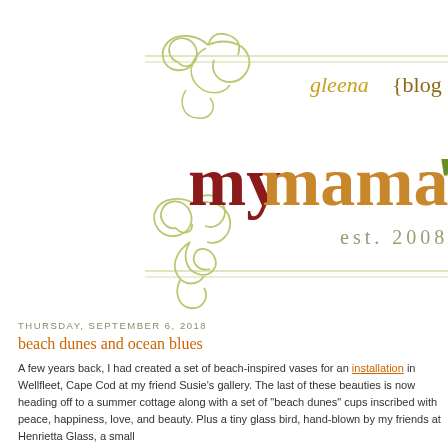[Figure (illustration): Blog header with decorative swirl ornaments, horizontal lines, the text 'gleena{blog', large title 'my mama's' in brown/orange/green, and 'est. 2008' in olive/gray.]
THURSDAY, SEPTEMBER 6, 2018
beach dunes and ocean blues
A few years back, I had created a set of beach-inspired vases for an installation in Wellfleet, Cape Cod at my friend Susie's gallery. The last of these beauties is now heading off to a summer cottage along with a set of "beach dunes" cups inscribed with peace, happiness, love, and beauty. Plus a tiny glass bird, hand-blown by my friends at Henrietta Glass, a small